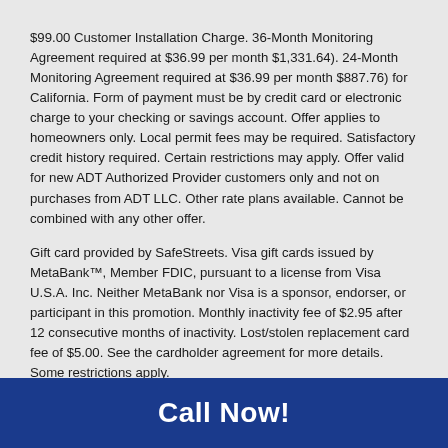$99.00 Customer Installation Charge. 36-Month Monitoring Agreement required at $36.99 per month $1,331.64). 24-Month Monitoring Agreement required at $36.99 per month $887.76) for California. Form of payment must be by credit card or electronic charge to your checking or savings account. Offer applies to homeowners only. Local permit fees may be required. Satisfactory credit history required. Certain restrictions may apply. Offer valid for new ADT Authorized Provider customers only and not on purchases from ADT LLC. Other rate plans available. Cannot be combined with any other offer.
Gift card provided by SafeStreets. Visa gift cards issued by MetaBank™, Member FDIC, pursuant to a license from Visa U.S.A. Inc. Neither MetaBank nor Visa is a sponsor, endorser, or participant in this promotion. Monthly inactivity fee of $2.95 after 12 consecutive months of inactivity. Lost/stolen replacement card fee of $5.00. See the cardholder agreement for more details. Some restrictions apply.
Call Now!